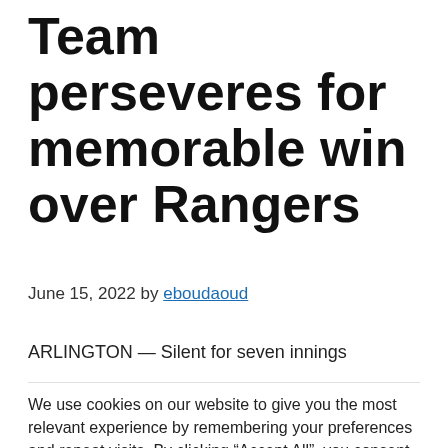Team perseveres for memorable win over Rangers
June 15, 2022 by eboudaoud
ARLINGTON — Silent for seven innings
We use cookies on our website to give you the most relevant experience by remembering your preferences and repeat visits. By clicking “Accept All”, you consent to the use of ALL the cookies. However, you may visit "Cookie Settings" to provide a controlled consent.